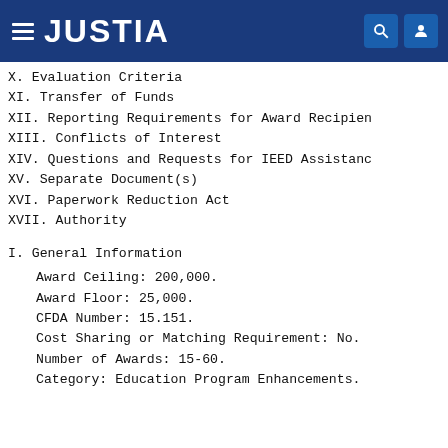JUSTIA
X. Evaluation Criteria
XI. Transfer of Funds
XII. Reporting Requirements for Award Recipients
XIII. Conflicts of Interest
XIV. Questions and Requests for IEED Assistance
XV. Separate Document(s)
XVI. Paperwork Reduction Act
XVII. Authority
I. General Information
Award Ceiling: 200,000.
Award Floor: 25,000.
CFDA Number: 15.151.
Cost Sharing or Matching Requirement: No.
Number of Awards: 15-60.
Category: Education Program Enhancements.